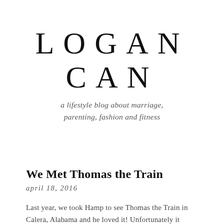LOGAN CAN
a lifestyle blog about marriage, parenting, fashion and fitness
We Met Thomas the Train
april 18, 2016
Last year, we took Hamp to see Thomas the Train in Calera, Alabama and he loved it! Unfortunately it ended badly and we later found out he had hand foot